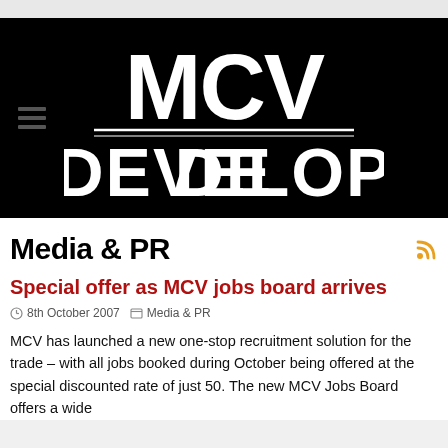[Figure (logo): MCV Develop logo — white bold letters MCV on top, double horizontal rule, then DEVELOP below, all on black background]
Media & PR
Special offer as MCV jobs board arrives
8th October 2007   Media & PR
MCV has launched a new one-stop recruitment solution for the trade – with all jobs booked during October being offered at the special discounted rate of just 50. The new MCV Jobs Board offers a wide